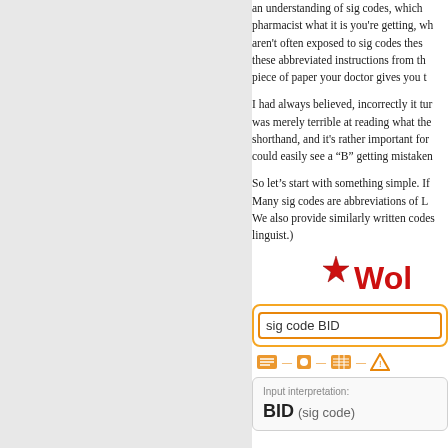an understanding of sig codes, which pharmacist what it is you're getting, wh aren't often exposed to sig codes thes these abbreviated instructions from th piece of paper your doctor gives you t
I had always believed, incorrectly it tu was merely terrible at reading what th shorthand, and it's rather important fo could easily see a "B" getting mistake
So let's start with something simple. I Many sig codes are abbreviations of L We also provide similarly written code linguist.)
[Figure (screenshot): Screenshot of WolframAlpha website showing a search for 'sig code BID' with an Input interpretation result showing 'BID (sig code)']